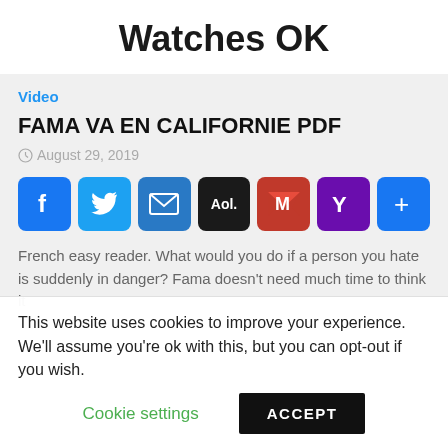Watches OK
Video
FAMA VA EN CALIFORNIE PDF
August 29, 2019
[Figure (other): Social share buttons: Facebook, Twitter, Email, AOL, Gmail, Yahoo, More (+)]
French easy reader. What would you do if a person you hate is suddenly in danger? Fama doesn't need much time to think it
This website uses cookies to improve your experience. We'll assume you're ok with this, but you can opt-out if you wish.
Cookie settings    ACCEPT